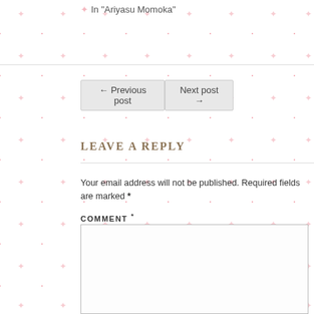In "Ariyasu Momoka"
← Previous post
Next post →
LEAVE A REPLY
Your email address will not be published. Required fields are marked *
COMMENT *